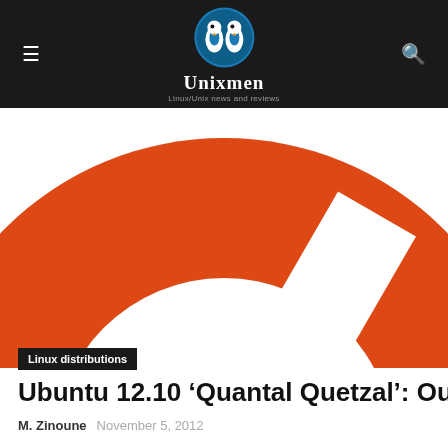Unixmen — Linux/Unix news and reviews
[Figure (logo): Unixmen website logo with two penguin birds and tagline 'Linux/Unix news and reviews']
[Figure (illustration): Large Ubuntu orange circle logo/icon on white background, cropped]
Linux distributions
Ubuntu 12.10 'Quantal Quetzal': Our Final Thou
M. Zinoune   November 5, 2012